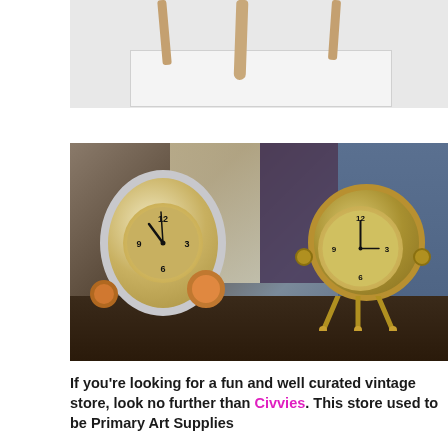[Figure (photo): Top portion of a white door with hanging bone or twig-like objects, partially cropped at top]
[Figure (photo): Two ornate steampunk-style brass clocks sitting on a dark wooden surface. The left clock is a large round spherical clock with Roman/Arabic numerals tilted on its side with wheel-like supports; the right clock is a smaller golden globe clock on tripod legs. Background shows a window, purple wall, and blue wood-paneled wall.]
If you're looking for a fun and well curated vintage store, look no further than Civvies. This store used to be Primary Art Supplies